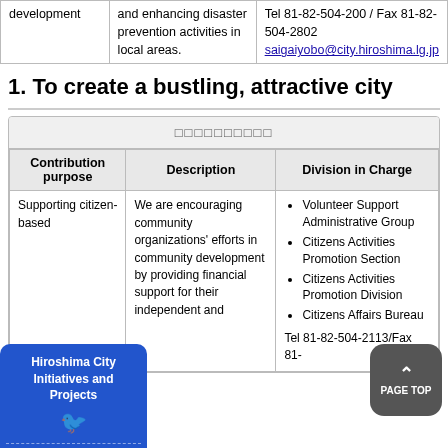|  |  |  |
| --- | --- | --- |
| development | and enhancing disaster prevention activities in local areas. | Tel 81-82-504-200 / Fax 81-82-504-2802
saigaiyobo@city.hiroshima.lg.jp |
1. To create a bustling, attractive city
| Contribution purpose | Description | Division in Charge |
| --- | --- | --- |
| Supporting citizen-based | We are encouraging community organizations' efforts in community development by providing financial support for their independent and | • Volunteer Support Administrative Group
• Citizens Activities Promotion Section
• Citizens Activities Promotion Division
• Citizens Affairs Bureau
Tel 81-82-504-2113/Fax 81- |
[Figure (other): PAGE TOP button overlay (dark rounded rectangle with up arrow and PAGE TOP text)]
[Figure (other): Hiroshima City Initiatives and Projects badge (blue rounded rectangle with white bird icon and dashed border at bottom-left)]